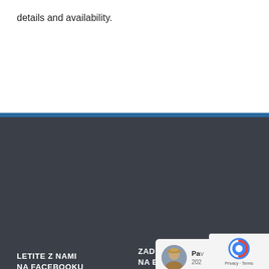details and availability.
LETITE Z NAMI NA FACEBOOKU
ZADNJE OBJAVE NA BLOGU
Brez besed – samo poezija
Pač ljubezen
Difuzna svetloba (gostujoča tipkovnica)
[Figure (other): Google review card showing a reviewer named Pav, dated 202, with 4 gold stars and Google G logo]
Google oc... 5 od 5.